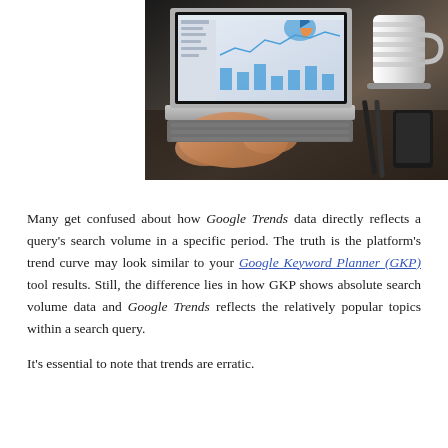[Figure (photo): A person typing on a MacBook laptop showing analytics dashboards, with a striped coffee mug and pens visible on the desk beside it.]
Many get confused about how Google Trends data directly reflects a query's search volume in a specific period. The truth is the platform's trend curve may look similar to your Google Keyword Planner (GKP) tool results. Still, the difference lies in how GKP shows absolute search volume data and Google Trends reflects the relatively popular topics within a search query.
It's essential to note that trends are erratic.